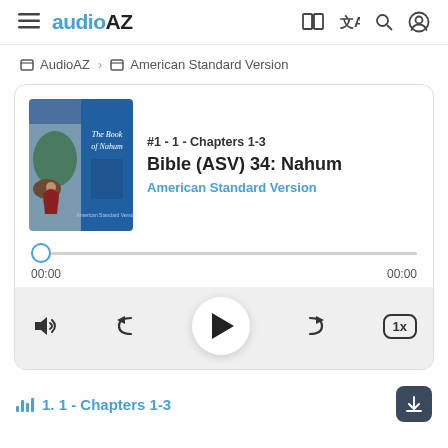audioAZ – navigation bar with hamburger menu, logo, and icons
AudioAZ > American Standard Version
[Figure (screenshot): Audio player card showing book cover for 'The Book of Nahum', track label '#1 - 1 - Chapters 1-3', title 'Bible (ASV) 34: Nahum', subtitle 'American Standard Version', progress bar at 00:00 / 00:00, and playback controls including volume, rewind, play, forward, and 1x speed button.]
1. 1 - Chapters 1-3